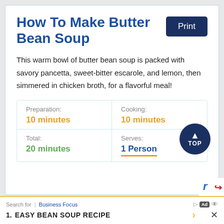How To Make Butter Bean Soup
This warm bowl of butter bean soup is packed with savory pancetta, sweet-bitter escarole, and lemon, then simmered in chicken broth, for a flavorful meal!
| Preparation: | Cooking: |
| 10 minutes | 10 minutes |
| Total: | Serves: |
| 20 minutes | 1 Person |
[Figure (other): TOP scroll-to-top button circle]
[Figure (other): Partial reCAPTCHA logo]
Search for | Business Focus  1. EASY BEAN SOUP RECIPE